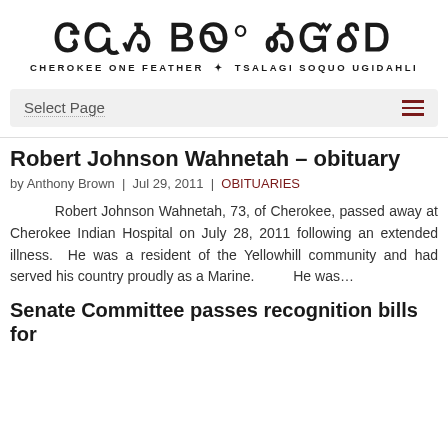GWY ᏣᎳᎩ ᎠᏂᏴᏫ * CHEROKEE ONE FEATHER * TSALAGI SOQUO UGIDAHLI
Select Page
Robert Johnson Wahnetah – obituary
by Anthony Brown | Jul 29, 2011 | OBITUARIES
Robert Johnson Wahnetah, 73, of Cherokee, passed away at Cherokee Indian Hospital on July 28, 2011 following an extended illness.  He was a resident of the Yellowhill community and had served his country proudly as a Marine.         He was…
Senate Committee passes recognition bills for